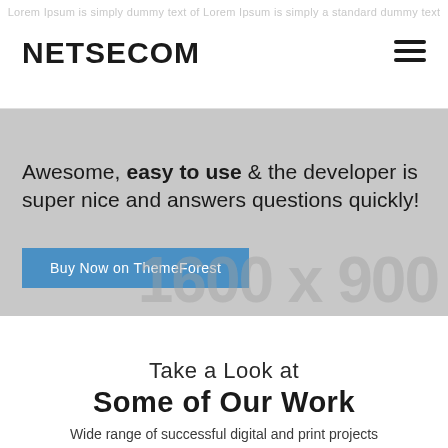Lorem Ipsum is simply dummy text of Lorem Ipsum is simply a standard dummy text
NETSECOM
[Figure (infographic): Hamburger menu icon (three horizontal lines)]
[Figure (screenshot): Hero banner with light gray background showing text: Awesome, easy to use & the developer is super nice and answers questions quickly! with a blue 'Buy Now on ThemeForest' button and a large watermark '1600 x 900']
Take a Look at
Some of Our Work
Wide range of successful digital and print projects